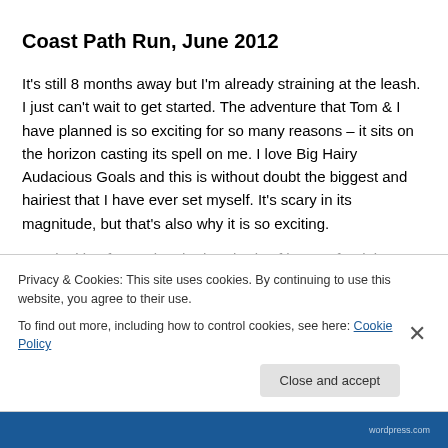Coast Path Run, June 2012
It's still 8 months away but I'm already straining at the leash. I just can't wait to get started. The adventure that Tom & I have planned is so exciting for so many reasons – it sits on the horizon casting its spell on me. I love Big Hairy Audacious Goals and this is without doubt the biggest and hairiest that I have ever set myself. It's scary in its magnitude, but that's also why it is so exciting.
I am looking forward to the hundreds of hours of training
Privacy & Cookies: This site uses cookies. By continuing to use this website, you agree to their use.
To find out more, including how to control cookies, see here: Cookie Policy